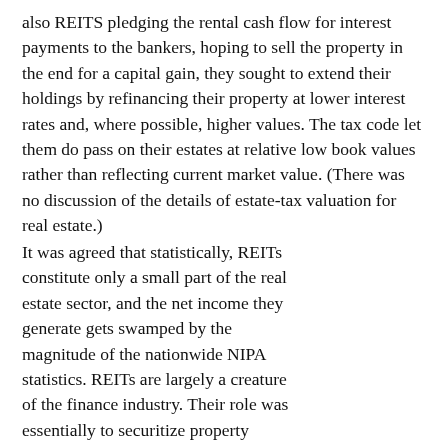also REITS pledging the rental cash flow for interest payments to the bankers, hoping to sell the property in the end for a capital gain, they sought to extend their holdings by refinancing their property at lower interest rates and, where possible, higher values. The tax code let them do pass on their estates at relative low book values rather than reflecting current market value. (There was no discussion of the details of estate-tax valuation for real estate.)
It was agreed that statistically, REITs constitute only a small part of the real estate sector, and the net income they generate gets swamped by the magnitude of the nationwide NIPA statistics. REITs are largely a creature of the finance industry. Their role was essentially to securitize property values. The ability to turn real estate properties into stock market values gave them a higher price/earnings ratio
[Figure (illustration): Book cover for 'The Destiny of Civilization: Finance Capitalism, Industrial Capitalism or Socialism' by Michael Hudson. Dark red background with bold white title text and black author name bar at bottom.]